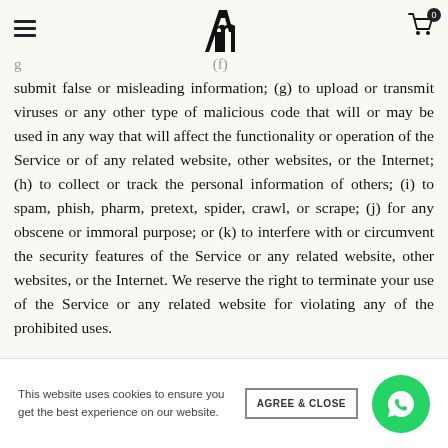Navigation header with hamburger menu, logo (Am), and cart icon with badge 0
submit false or misleading information; (g) to upload or transmit viruses or any other type of malicious code that will or may be used in any way that will affect the functionality or operation of the Service or of any related website, other websites, or the Internet; (h) to collect or track the personal information of others; (i) to spam, phish, pharm, pretext, spider, crawl, or scrape; (j) for any obscene or immoral purpose; or (k) to interfere with or circumvent the security features of the Service or any related website, other websites, or the Internet. We reserve the right to terminate your use of the Service or any related website for violating any of the prohibited uses.
This website uses cookies to ensure you get the best experience on our website.